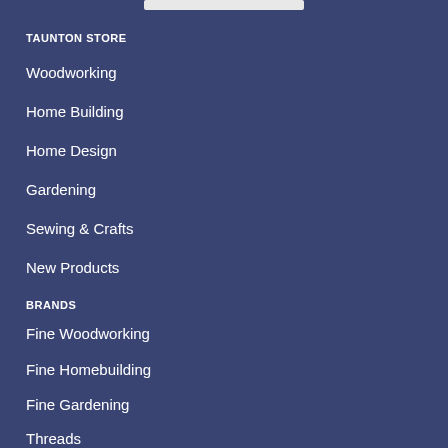TAUNTON STORE
Woodworking
Home Building
Home Design
Gardening
Sewing & Crafts
New Products
BRANDS
Fine Woodworking
Fine Homebuilding
Fine Gardening
Threads
Green Building Advisor